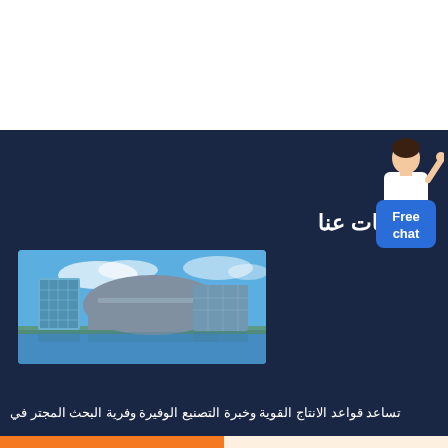[Figure (other): White top banner area]
معلومات عنا
[Figure (photo): Modern office buildings complex next to a waterfront under blue sky]
[Figure (illustration): Customer service avatar with Free chat button in blue]
تساعد قواعد الانتاج القوية وخبرة التصنيع الوفيرة وفرية البحث المجتر في
Get a Quote
WhatsApp